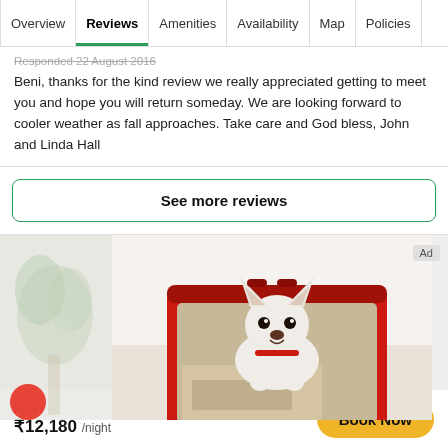Overview | Reviews | Amenities | Availability | Map | Policies
Responded 22 August 2016
Beni, thanks for the kind review we really appreciated getting to meet you and hope you will return someday. We are looking forward to cooler weather as fall approaches. Take care and God bless, John and Linda Hall
See more reviews
[Figure (photo): Advertisement photo of a white Chihuahua dog sitting inside an open red suitcase on a white bed, with a blurred green plant in the background on the left.]
From ₹12,180 /night
Book Now